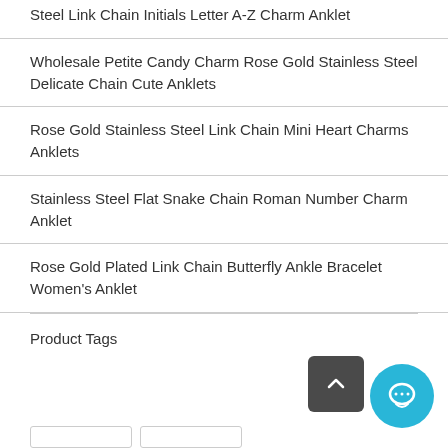Steel Link Chain Initials Letter A-Z Charm Anklet
Wholesale Petite Candy Charm Rose Gold Stainless Steel Delicate Chain Cute Anklets
Rose Gold Stainless Steel Link Chain Mini Heart Charms Anklets
Stainless Steel Flat Snake Chain Roman Number Charm Anklet
Rose Gold Plated Link Chain Butterfly Ankle Bracelet Women's Anklet
Product Tags